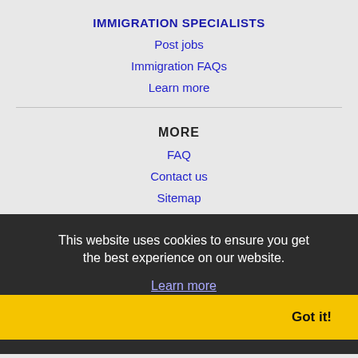IMMIGRATION SPECIALISTS
Post jobs
Immigration FAQs
Learn more
MORE
FAQ
Contact us
Sitemap
Legal
Privacy
NEARBY CITIES
Apple Valley, MN Jobs
Blaine, MN Jobs
Bloomington, MN Jobs
This website uses cookies to ensure you get the best experience on our website.
Learn more
Got it!